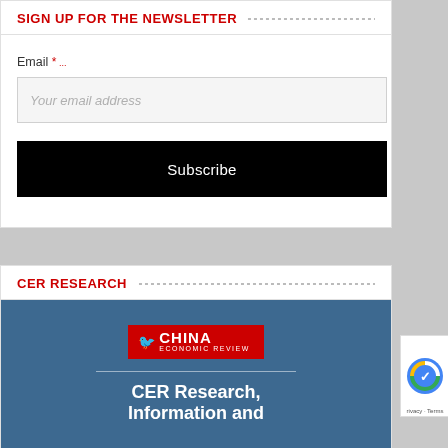SIGN UP FOR THE NEWSLETTER
Email *
Your email address
Subscribe
CER RESEARCH
[Figure (logo): China Economic Review logo on blue background with text CER Research, Information and]
CER Research, Information and